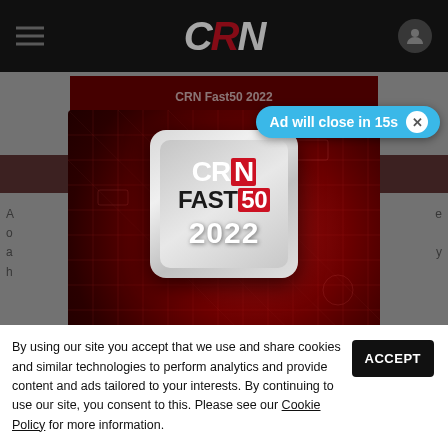CRN
[Figure (screenshot): CRN Fast50 2022 advertisement modal overlay on the CRN website. The modal shows a metallic badge logo with 'CRN FAST50 2022' text on a dark red circuit-board background. Text reads 'CRN Fast50 2022 submissions are now open!']
Ad will close in 15s
By using our site you accept that we use and share cookies and similar technologies to perform analytics and provide content and ads tailored to your interests. By continuing to use our site, you consent to this. Please see our Cookie Policy for more information.
ACCEPT